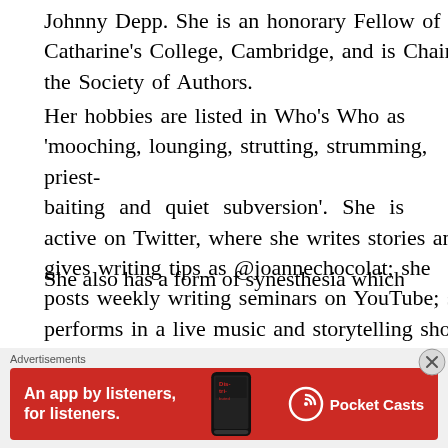Johnny Depp. She is an honorary Fellow of St Catharine's College, Cambridge, and is Chair of the Society of Authors. Her hobbies are listed in Who's Who as 'mooching, lounging, strutting, strumming, priest-baiting and quiet subversion'. She is active on Twitter, where she writes stories and gives writing tips as @joannechocolat; she posts weekly writing seminars on YouTube; she performs in a live music and storytelling show with the #Storytime Band; and she works from a shed in her garden at her home in Yorkshire.
She also has a form of synesthesia which...
[Figure (other): Advertisement banner: red background with text 'An app by listeners, for listeners.' and Pocket Casts logo with a phone showing the Distributed podcast app]